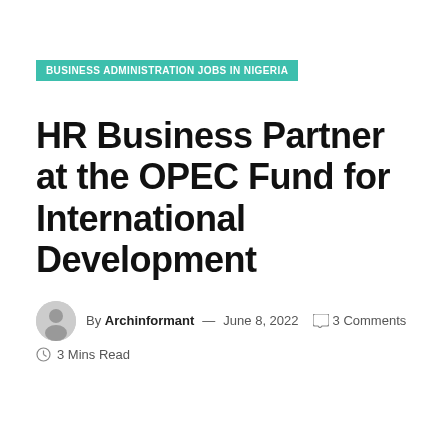BUSINESS ADMINISTRATION JOBS IN NIGERIA
HR Business Partner at the OPEC Fund for International Development
By Archinformant — June 8, 2022  ◯ 3 Comments  ◷ 3 Mins Read